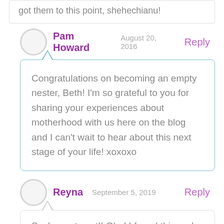got them to this point, shehechianu!
Pam Howard  August 20, 2016  Reply
Congratulations on becoming an empty nester, Beth! I'm so grateful to you for sharing your experiences about motherhood with us here on the blog and I can't wait to hear about this next stage of your life! xoxoxo
Reyna  September 5, 2019  Reply
Such great post!! Glad I found this and